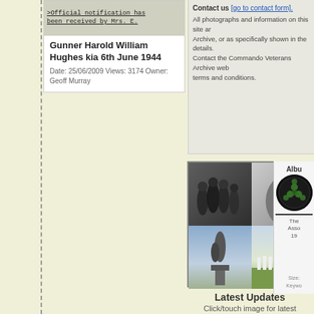[Figure (photo): Scanned document image showing typed text about official notification received by Mrs. E.]
Gunner Harold William Hughes kia 6th June 1944
Date: 25/06/2009 Views: 3174 Owner: Geoff Murray
Contact us [go to contact form].
All photographs and information on this site are Archive, or as specifically shown in the details. Contact the Commando Veterans Archive web terms and conditions.
[Figure (photo): Collage of four images: top-left shows soldiers with equipment (black and white), top-right shows a close-up portrait (black and white), bottom-left shows a war memorial statue, bottom-right shows white grave markers in a cemetery field.]
Latest Updates
Click/touch image for latest additions to gallery
Date: 19/08/2007
Views: 1
Albu
The Asso 19
Size:
Keywo